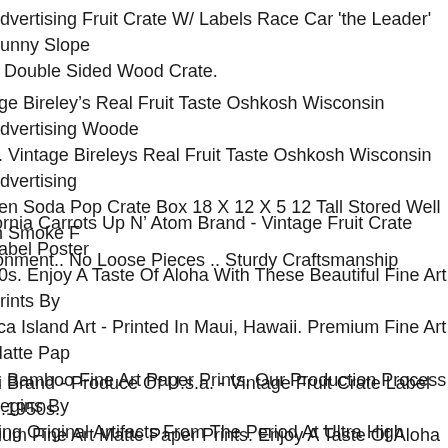Advertising Fruit Crate W/ Labels Race Car 'the Leader' Sunny Slope A Double Sided Wood Crate.
age Bireley’s Real Fruit Taste Oshkosh Wisconsin Advertising Wooden e. Vintage Bireleys Real Fruit Taste Oshkosh Wisconsin Advertising den Soda Pop Crate Box 18 X 12 X 5 12 Tall Stored Well In Smoke F ronment.. No Loose Pieces .. Sturdy Craftsmanship
fornia Carrots Up N’ Atom Brand - Vintage Fruit Crate Label Poster 50s. Enjoy A Taste Of Aloha With These Beautiful Fine Art Prints By fica Island Art - Printed In Maui, Hawaii. Premium Fine Art Matte Pap s. Bamboo Fine Art Paper Prints. Our Production Process Begins By ning Original Artifacts From The Period At Ultra High Resolution Th uring Every Detail.
ni Brand - Produce Of U.s.a. - Vintage Fruit Crate Label C.1950s. nium Fine Art Matte Paper Prints. Enjoy A Taste Of Aloha With These utiful Fine Art Prints By Pacifica Island Art - Printed In Maui, Hawaii. fica Island Art, Inc. Was Founded In 1990 And Is Based On The Bea